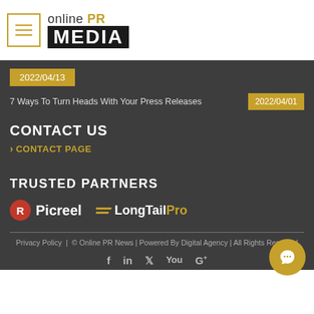[Figure (logo): Online PR Media logo with hamburger menu icon]
2022/04/13
7 Ways To Turn Heads With Your Press Releases 2022/04/01
CONTACT US
> CONTACT PAGE
TRUSTED PARTNERS
[Figure (logo): Picreel logo and LongTailPro logo]
Privacy Policy | © Online PR News | Powered By Agency | All Rights Reserved